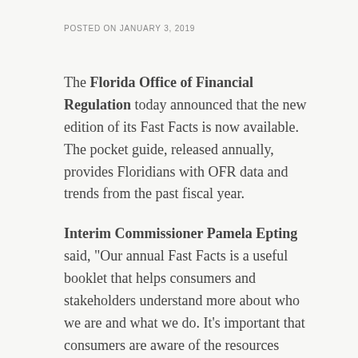POSTED ON JANUARY 3, 2019
The Florida Office of Financial Regulation today announced that the new edition of its Fast Facts is now available. The pocket guide, released annually, provides Floridians with OFR data and trends from the past fiscal year.
Interim Commissioner Pamela Epting said, "Our annual Fast Facts is a useful booklet that helps consumers and stakeholders understand more about who we are and what we do. It's important that consumers are aware of the resources available to them, including how to verify a license and file a complaint with OFR. We're excited to release this newly-redesigned version for 2019."